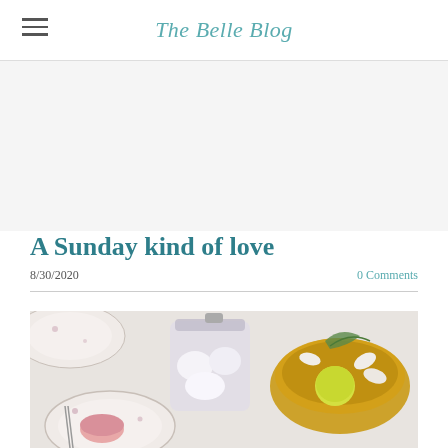The Belle Blog
A Sunday kind of love
8/30/2020
0 Comments
[Figure (photo): Top-down flat lay photo of vintage floral china dishes, glass jar with cotton balls, and a golden bowl with a yellow citrus and white flower petals on a white background.]